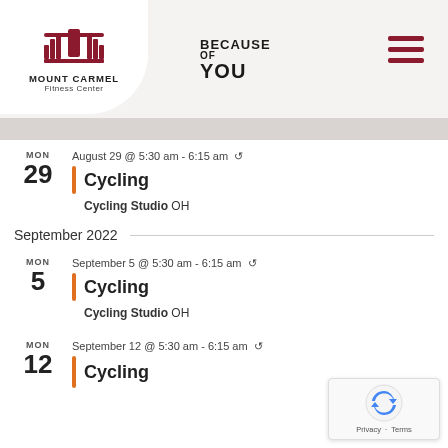[Figure (logo): Mount Carmel Fitness Center logo with stylized building icon and text 'MOUNT CARMEL Fitness Center']
[Figure (illustration): BECAUSE OF YOU text logo in bold black]
[Figure (illustration): Hamburger menu icon (three horizontal dark red bars)]
August 29 @ 5:30 am - 6:15 am ↺
Cycling
Cycling Studio OH
September 2022
September 5 @ 5:30 am - 6:15 am ↺
Cycling
Cycling Studio OH
September 12 @ 5:30 am - 6:15 am ↺
Cycling